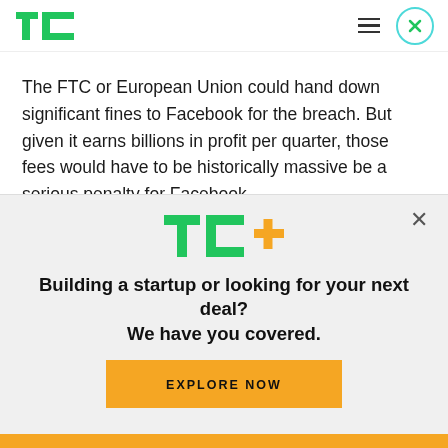TechCrunch logo and navigation header
The FTC or European Union could hand down significant fines to Facebook for the breach. But given it earns billions in profit per quarter, those fees would have to be historically massive be a serious penalty for Facebook.
One of the biggest questions about the attack is
[Figure (logo): TC+ logo in green and yellow/gold]
Building a startup or looking for your next deal? We have you covered.
EXPLORE NOW